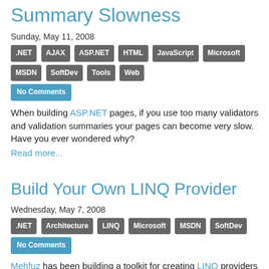Summary Slowness
Sunday, May 11, 2008
.NET | AJAX | ASP.NET | HTML | JavaScript | Microsoft | MSDN | SoftDev | Tools | Web | No Comments
When building ASP.NET pages, if you use too many validators and validation summaries your pages can become very slow. Have you ever wondered why?
Read more...
Build Your Own LINQ Provider
Wednesday, May 7, 2008
.NET | Architecture | LINQ | Microsoft | MSDN | SoftDev | No Comments
Mehfuz has been building a toolkit for creating LINQ providers and it's available at CodePlex: LINQExtender